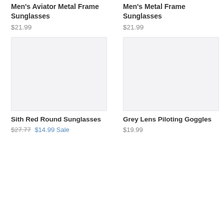Men's Aviator Metal Frame Sunglasses
$21.99
Men's Metal Frame Sunglasses
$21.99
[Figure (photo): Product image placeholder for Sith Red Round Sunglasses]
[Figure (photo): Product image placeholder for Grey Lens Piloting Goggles]
Sith Red Round Sunglasses
$27.77  $14.99 Sale
Grey Lens Piloting Goggles
$19.99